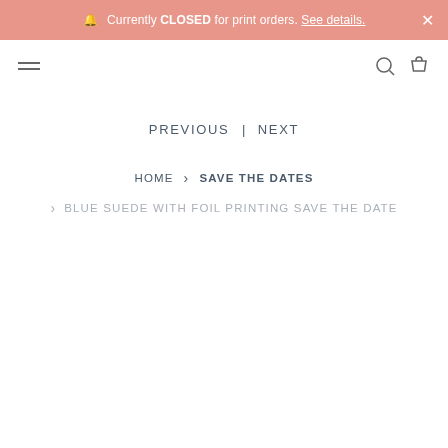Currently CLOSED for print orders. See details. ×
PREVIOUS | NEXT
HOME > SAVE THE DATES > BLUE SUEDE WITH FOIL PRINTING SAVE THE DATE